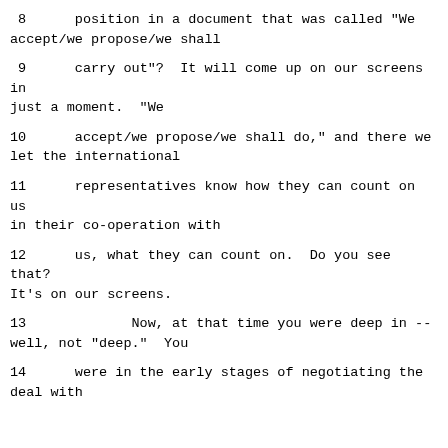8      position in a document that was called "We accept/we propose/we shall
9      carry out"?  It will come up on our screens in just a moment.  "We
10      accept/we propose/we shall do," and there we let the international
11      representatives know how they can count on us in their co-operation with
12      us, what they can count on.  Do you see that? It's on our screens.
13             Now, at that time you were deep in -- well, not "deep."  You
14      were in the early stages of negotiating the deal with